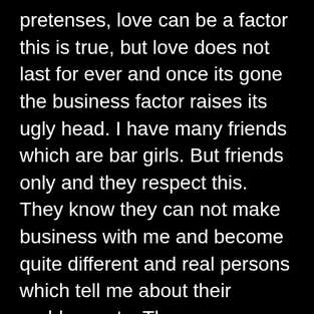pretenses, love can be a factor this is true, but love does not last for ever and once its gone the business factor raises its ugly head. I have many friends which are bar girls. But friends only and they respect this. They know they can not make business with me and become quite different and real persons which tell me about their problems etc. They even warn new girls off and tell them to leave me alone or only sit down to talk. Once when I was very depressed they took real good care of me in my hotel without any financial considerations whatever. As I wanted to reimburse the three ladies of the night for their lost three days they actually got angry and told me that they are my friends and friends help each other in times of need. If you treat them like people they usually will treat you very well even if you are not a